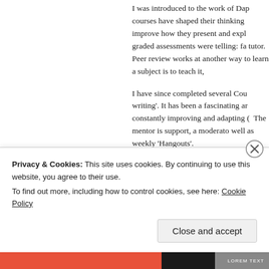I was introduced to the work of Dap courses have shaped their thinking improve how they present and expl graded assessments were telling: fa tutor. Peer review works at another way to learn a subject is to teach it,
I have since completed several Cou writing'. It has been a fascinating an constantly improving and adapting ( The mentor is support, a moderato well as weekly 'Hangouts'.
A bit like a 'mentor' but with more 'p Network (34 k+ members) but also t groups, and initially learning from Th responding to discussions. This is s started four LinkedIn Groups in
Privacy & Cookies: This site uses cookies. By continuing to use this website, you agree to their use.
To find out more, including how to control cookies, see here: Cookie Policy
Close and accept